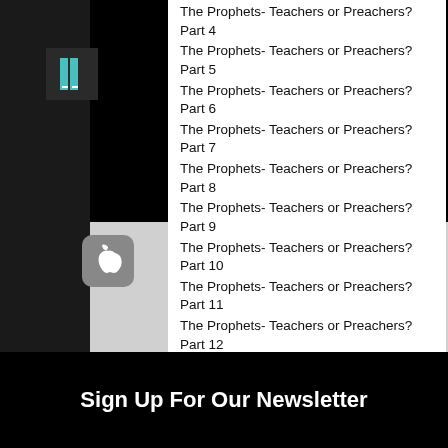The Prophets- Teachers or Preachers? Part 4
The Prophets- Teachers or Preachers? Part 5
The Prophets- Teachers or Preachers? Part 6
The Prophets- Teachers or Preachers? Part 7
The Prophets- Teachers or Preachers? Part 8
The Prophets- Teachers or Preachers? Part 9
The Prophets- Teachers or Preachers? Part 10
The Prophets- Teachers or Preachers? Part 11
The Prophets- Teachers or Preachers? Part 12
The Prophets- Teachers or Preachers? Part 13
The Prophets- Teachers or Preachers? Part 14
The Prophets- Teachers or Preachers? Part 15
The Prophets- Teachers or Preachers? Part 16
The Prophets- Teachers or Preachers? Part 17
The Prophets- Teachers or Preachers? Part 18
Sign Up For Our Newsletter